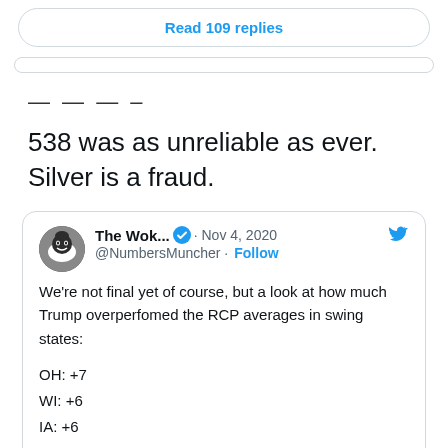Read 109 replies
— — — –
538 was as unreliable as ever. Silver is a fraud.
The Wok... · Nov 4, 2020
@NumbersMuncher · Follow
We're not final yet of course, but a look at how much Trump overperfomed the RCP averages in swing states:

OH: +7
WI: +6
IA: +6
TX: +5
FL: +4.5
NC: +1